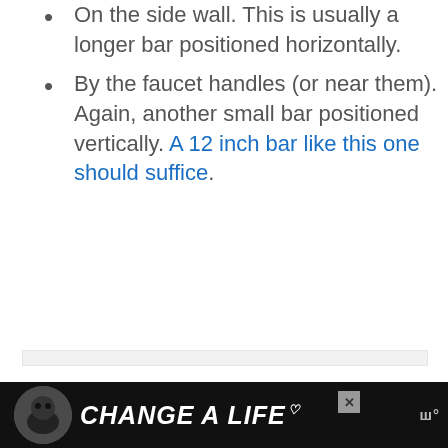On the side wall. This is usually a longer bar positioned horizontally.
By the faucet handles (or near them). Again, another small bar positioned vertically. A 12 inch bar like this one should suffice.
[Figure (other): Light gray rectangular placeholder/advertisement area]
[Figure (other): Advertisement banner with dark background showing a dog, text CHANGE A LIFE with heart icon, close button X, and logo]